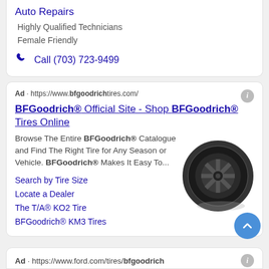Auto Repairs
Highly Qualified Technicians
Female Friendly
Call (703) 723-9499
Ad · https://www.bfgoodrichtires.com/
BFGoodrich® Official Site - Shop BFGoodrich® Tires Online
Browse The Entire BFGoodrich® Catalogue and Find The Right Tire for Any Season or Vehicle. BFGoodrich® Makes It Easy To...
[Figure (photo): Photo of a BFGoodrich tire with black alloy wheel]
Search by Tire Size
Locate a Dealer
The T/A® KO2 Tire
BFGoodrich® KM3 Tires
Ad · https://www.ford.com/tires/bfgoodrich